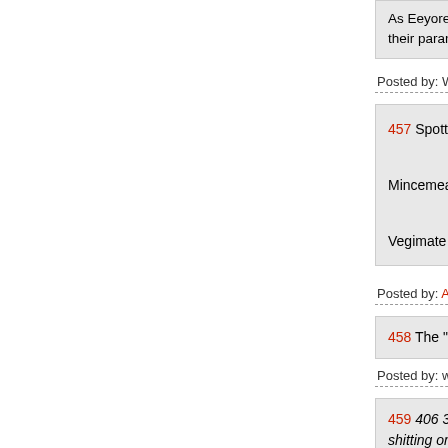As Eeyore posted above, the split with the Birc... their paranoid stance on Einsenhower as a crypt...
Posted by: Who is broseidon, semi-official komodo dra...
457 Spotted dick

Mincemeat

Vegimate
Posted by: Anna Puma (HQCaR) at December 14, 2018
458 The "it tastes like sap" trick doesn't work or...
Posted by: wooga at December 14, 2018 01:22 PM (Tm...
459 406 397 Ace is dancing on the Weekly Stand... shitting on it, then digging up the magazine's co... faces on its lifeless head, then eating a picnic n... an unwitting participant, playing tea party game... eye-socket, and leaving it out in the open for the...
Posted by: zombie at December 14, 2018 01:14...